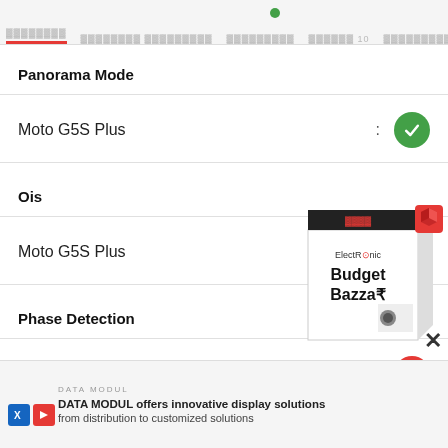Navigation bar with menu items including top tabs
Panorama Mode
Moto G5S Plus : ✓ (green check)
Ois
Moto G5S Plus : ✗ (red cross)
Phase Detection
Moto G5S Plus : ✗ (red cross)
[Figure (illustration): Product box illustration for ElectRonic Budget Bazzar with a 3D box graphic and red cube icon]
DATA MODUL
DATA MODUL offers innovative display solutions
from distribution to customized solutions